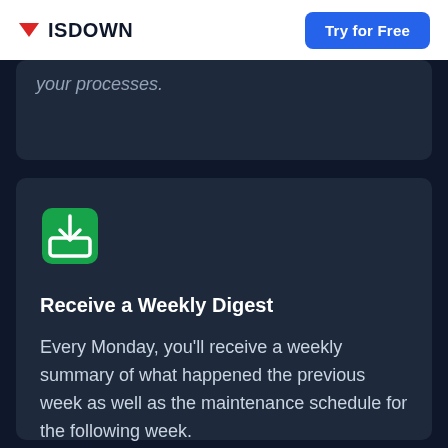ISDOWN | Try for Free
your processes.
[Figure (illustration): Green inbox/download icon with a downward arrow inside a rounded square, green color on dark background]
Receive a Weekly Digest
Every Monday, you'll receive a weekly summary of what happened the previous week as well as the maintenance schedule for the following week.